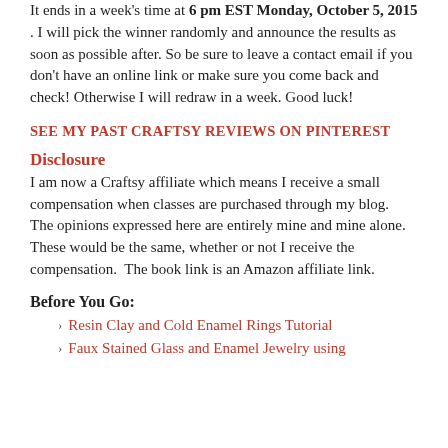It ends in a week's time at 6 pm EST Monday, October 5, 2015 . I will pick the winner randomly and announce the results as soon as possible after. So be sure to leave a contact email if you don't have an online link or make sure you come back and check! Otherwise I will redraw in a week. Good luck!
SEE MY PAST CRAFTSY REVIEWS ON PINTEREST
Disclosure
I am now a Craftsy affiliate which means I receive a small compensation when classes are purchased through my blog.  The opinions expressed here are entirely mine and mine alone.  These would be the same, whether or not I receive the compensation.  The book link is an Amazon affiliate link.
Before You Go:
Resin Clay and Cold Enamel Rings Tutorial
Faux Stained Glass and Enamel Jewelry using